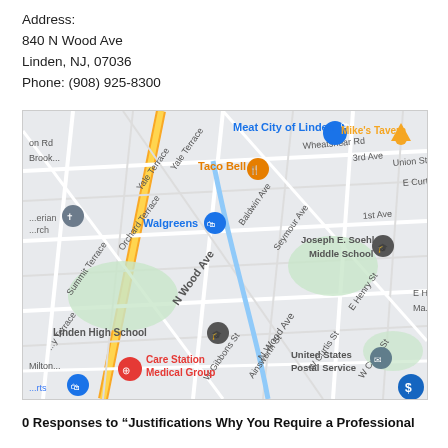Address:
840 N Wood Ave
Linden, NJ, 07036
Phone: (908) 925-8300
[Figure (map): Google Maps screenshot showing 840 N Wood Ave, Linden, NJ area. Landmarks visible include Meat City of Linden, Mike's Tavern, Taco Bell, Walgreens, Linden High School, Joseph E. Soehl Middle School, Care Station Medical Group, United States Postal Service.]
0 Responses to “Justifications Why You Require a Professional